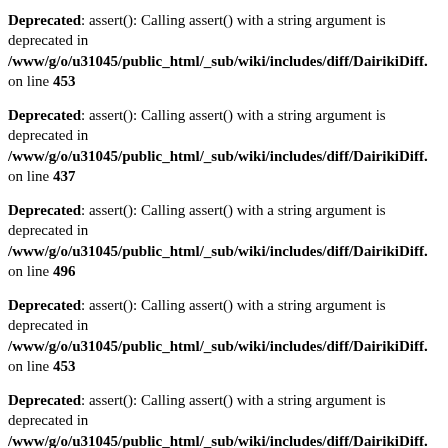Deprecated: assert(): Calling assert() with a string argument is deprecated in /www/g/o/u31045/public_html/_sub/wiki/includes/diff/DairikiDiff. on line 453
Deprecated: assert(): Calling assert() with a string argument is deprecated in /www/g/o/u31045/public_html/_sub/wiki/includes/diff/DairikiDiff. on line 437
Deprecated: assert(): Calling assert() with a string argument is deprecated in /www/g/o/u31045/public_html/_sub/wiki/includes/diff/DairikiDiff. on line 496
Deprecated: assert(): Calling assert() with a string argument is deprecated in /www/g/o/u31045/public_html/_sub/wiki/includes/diff/DairikiDiff. on line 453
Deprecated: assert(): Calling assert() with a string argument is deprecated in /www/g/o/u31045/public_html/_sub/wiki/includes/diff/DairikiDiff. on line 437